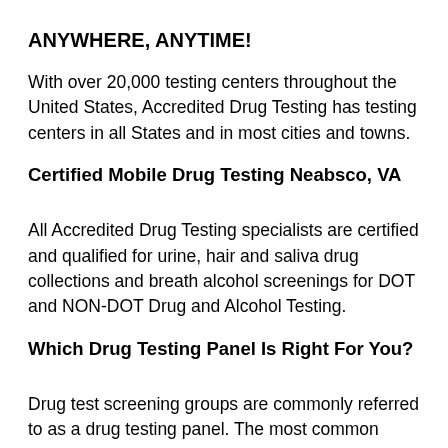ANYWHERE, ANYTIME!
With over 20,000 testing centers throughout the United States, Accredited Drug Testing has testing centers in all States and in most cities and towns.
Certified Mobile Drug Testing Neabsco, VA
All Accredited Drug Testing specialists are certified and qualified for urine, hair and saliva drug collections and breath alcohol screenings for DOT and NON-DOT Drug and Alcohol Testing.
Which Drug Testing Panel Is Right For You?
Drug test screening groups are commonly referred to as a drug testing panel. The most common panels used are a 5 panel, 10 panel and 12 panel drug tests, (panels specify how many drugs will be screened) however customized